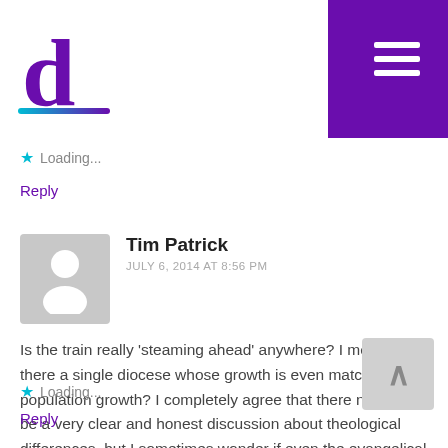[Figure (logo): Purple letter 'd' logo with teal/purple gradient underline]
[Figure (other): Purple hamburger menu icon (three white lines on purple background)]
★ Loading...
Reply
Tim Patrick
JULY 6, 2014 AT 8:56 PM
Is the train really 'steaming ahead' anywhere? I mean, is there a single diocese whose growth is even matching population growth? I completely agree that there needs to be a very clear and honest discussion about theological differences, but I sometimes wonder if even the evangelical parts of the church are in as strong a position as you indicate. In my experience, many of them are also struggling to engage the world around them with the gospel. Certainly they have the intention, but the effectiveness is often lacking.
★ Loading...
Reply